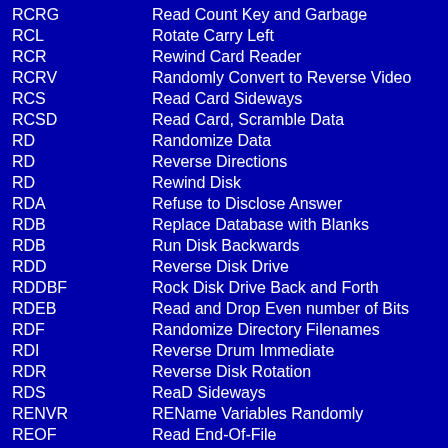| Abbreviation | Meaning |
| --- | --- |
| RCRG | Read Count Key and Garbage |
| RCL | Rotate Carry Left |
| RCR | Rewind Card Reader |
| RCRV | Randomly Convert to Reverse Video |
| RCS | Read Card Sideways |
| RCSD | Read Card, Scramble Data |
| RD | Randomize Data |
| RD | Reverse Directions |
| RD | Rewind Disk |
| RDA | Refuse to Disclose Answer |
| RDB | Replace Database with Blanks |
| RDB | Run Disk Backwards |
| RDD | Reverse Disk Drive |
| RDDBF | Rock Disk Drive Back and Forth |
| RDEB | Read and Drop Even number of Bits |
| RDF | Randomize Directory Filenames |
| RDI | Reverse Drum Immediate |
| RDR | Reverse Disk Rotation |
| RDS | ReaD Sideways |
| RENVR | REName Variables Randomly |
| REOF | Read End-Of-File |
| RET | Read and Erase Tape |
| RF | Read Fingerprints |
| RG | Record Garbage |
| RHO | Randomize and Halt if not = to 0 |
| RI | Read Invalid |